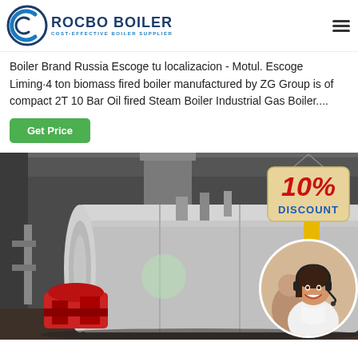[Figure (logo): Rocbo Boiler logo with circular icon and text 'ROCBO BOILER - COST-EFFECTIVE BOILER SUPPLIER']
Boiler Brand Russia Escoge tu localizacion - Motul. Escoge Liming·4 ton biomass fired boiler manufactured by ZG Group is of compact 2T 10 Bar Oil fired Steam Boiler Industrial Gas Boiler....
[Figure (other): Green 'Get Price' button]
[Figure (photo): Industrial boiler equipment in a factory setting, showing a large cylindrical horizontal boiler with red burner, metallic casing, and industrial environment. Overlaid with 10% DISCOUNT badge and customer service representative circle photo.]